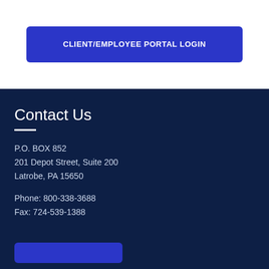CLIENT/EMPLOYEE PORTAL LOGIN
Contact Us
P.O. BOX 852
201 Depot Street, Suite 200
Latrobe, PA 15650
Phone: 800-338-3688
Fax: 724-539-1388